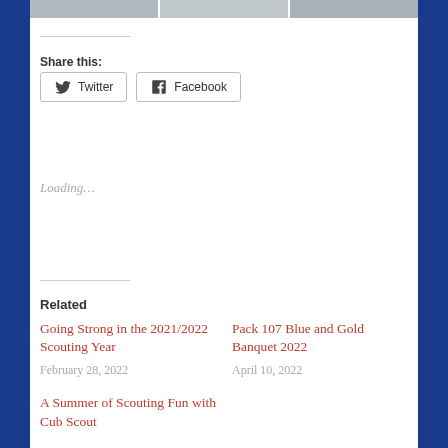[Figure (photo): Three photo thumbnails at top of page (cropped photos showing people)]
Share this:
Twitter  Facebook
Loading…
Related
Going Strong in the 2021/2022 Scouting Year
February 28, 2022
Pack 107 Blue and Gold Banquet 2022
April 10, 2022
A Summer of Scouting Fun with Cub Scout